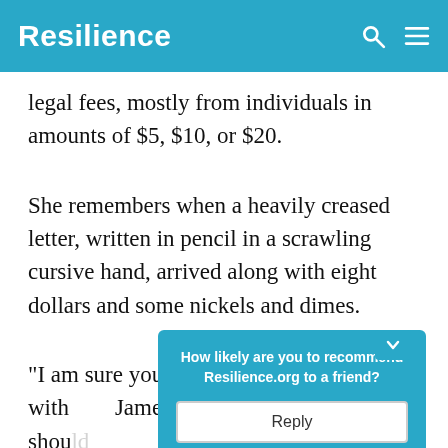Resilience
legal fees, mostly from individuals in amounts of $5, $10, or $20.
She remembers when a heavily creased letter, written in pencil in a scrawling cursive hand, arrived along with eight dollars and some nickels and dimes.
"I am sure you are familiar with James Hanse... are shou..."
[Figure (screenshot): Popup dialog overlay with teal background asking 'How likely are you to recommend Resilience.org to a friend?' with a 'Reply' button]